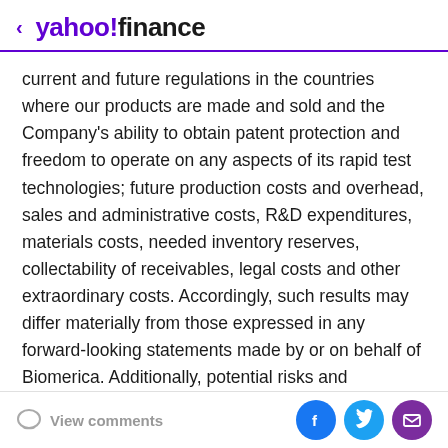< yahoo!finance
current and future regulations in the countries where our products are made and sold and the Company's ability to obtain patent protection and freedom to operate on any aspects of its rapid test technologies; future production costs and overhead, sales and administrative costs, R&D expenditures, materials costs, needed inventory reserves, collectability of receivables, legal costs and other extraordinary costs. Accordingly, such results may differ materially from those expressed in any forward-looking statements made by or on behalf of Biomerica. Additionally, potential risks and uncertainties include, among others, fluctuations in the Company's operating results due to its business model and expansion plans,
View comments